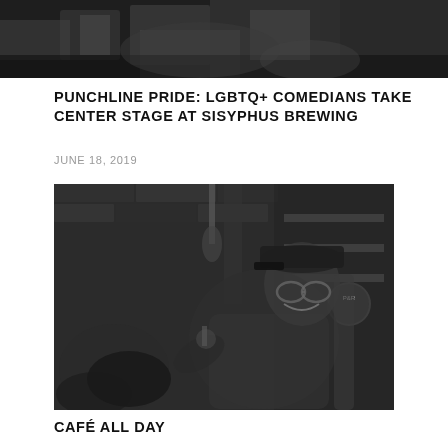[Figure (photo): Black and white photo, partially cropped at top — appears to show a person seated, torso and arms visible, dark background]
PUNCHLINE PRIDE: LGBTQ+ COMEDIANS TAKE CENTER STAGE AT SISYPHUS BREWING
JUNE 18, 2019
[Figure (photo): Black and white photo of a person wearing glasses and a cap, sitting in a chair and holding a microphone, smiling, with a brick background and shelves of items behind them]
CAFÉ ALL DAY